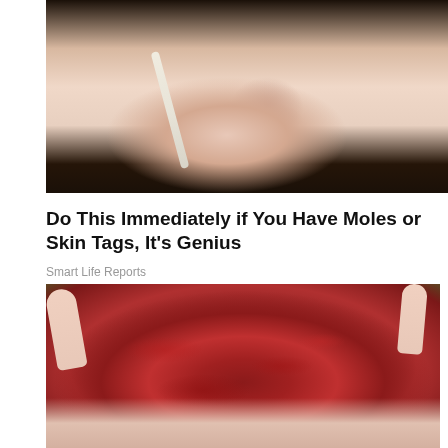[Figure (photo): Close-up photo of a woman's face with dark hair, applying something to her face with a cotton pad or cotton swab near her nose area]
Do This Immediately if You Have Moles or Skin Tags, It's Genius
Smart Life Reports
[Figure (photo): Close-up photo of a hand holding rambutan fruits (spiky red tropical fruit) with white peeled flesh visible]